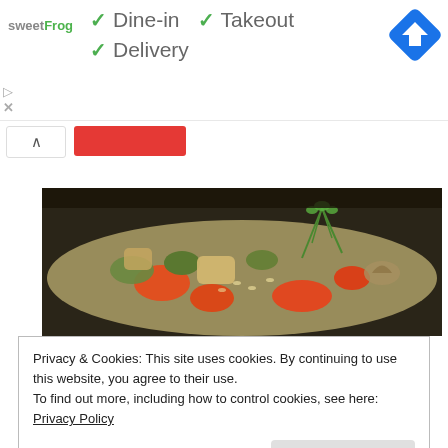[Figure (logo): sweetFrog logo — brand name in gray and green]
✓ Dine-in  ✓ Takeout
✓ Delivery
[Figure (illustration): Blue diamond-shaped navigation/directions icon with white arrow]
[Figure (photo): Close-up photo of a stew or soup with carrots, green vegetables, mushrooms and dill garnish in a creamy broth]
Privacy & Cookies: This site uses cookies. By continuing to use this website, you agree to their use.
To find out more, including how to control cookies, see here: Privacy Policy
Close and accept